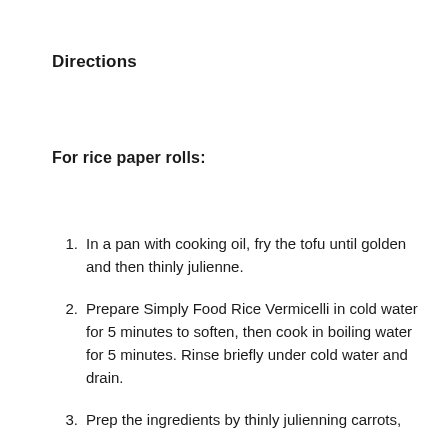Directions
For rice paper rolls:
In a pan with cooking oil, fry the tofu until golden and then thinly julienne.
Prepare Simply Food Rice Vermicelli in cold water for 5 minutes to soften, then cook in boiling water for 5 minutes. Rinse briefly under cold water and drain.
Prep the ingredients by thinly julienning carrots,